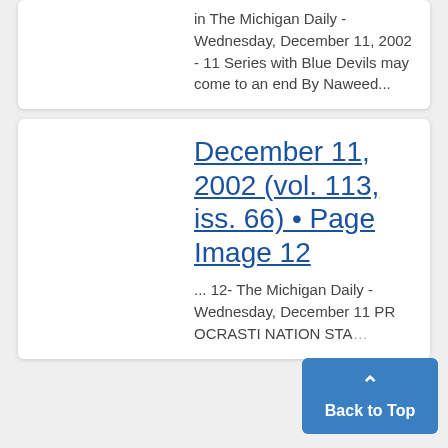in The Michigan Daily - Wednesday, December 11, 2002 - 11 Series with Blue Devils may come to an end By Naweed...
December 11, 2002 (vol. 113, iss. 66) • Page Image 12
... 12- The Michigan Daily - Wednesday, December 11 PR OCRASTI NATION STA...